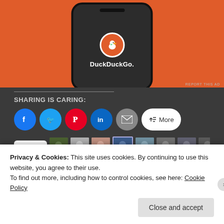[Figure (screenshot): DuckDuckGo advertisement showing phone mockup with DuckDuckGo logo and name on orange background. REPORT THIS AD text visible.]
SHARING IS CARING:
[Figure (screenshot): Social sharing buttons: Facebook, Twitter, Pinterest, LinkedIn, Email, and More button]
[Figure (screenshot): Like button with star icon followed by 10 blogger avatar images]
44 bloggers like this.
Privacy & Cookies: This site uses cookies. By continuing to use this website, you agree to their use.
To find out more, including how to control cookies, see here: Cookie Policy